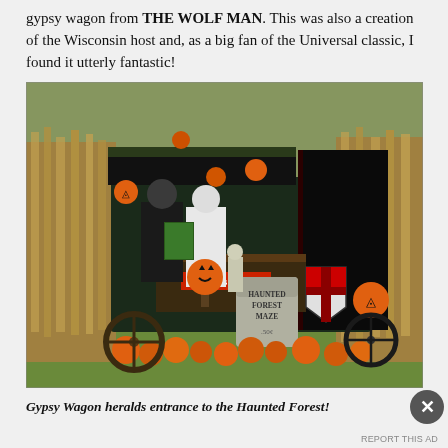gypsy wagon from THE WOLF MAN. This was also a creation of the Wisconsin host and, as a big fan of the Universal classic, I found it utterly fantastic!
[Figure (photo): A gypsy wagon decorated for Halloween at the entrance to a Haunted Forest Maze. The scene includes corn stalks on either side, numerous carved pumpkins and jack-o'-lanterns, Halloween decorations, a shield with a red cross, a gravestone sign reading 'HAUNTED FOREST MAZE', a 'Mayor's Office' sign on the wagon, and people in costumes.]
Gypsy Wagon heralds entrance to the Haunted Forest!